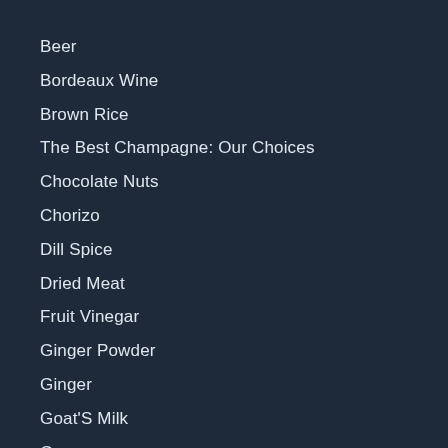Beer
Bordeaux Wine
Brown Rice
The Best Champagne: Our Choices
Chocolate Nuts
Chorizo
Dill Spice
Dried Meat
Fruit Vinegar
Ginger Powder
Ginger
Goat'S Milk
Grappa
Hibiscus Flower Tea